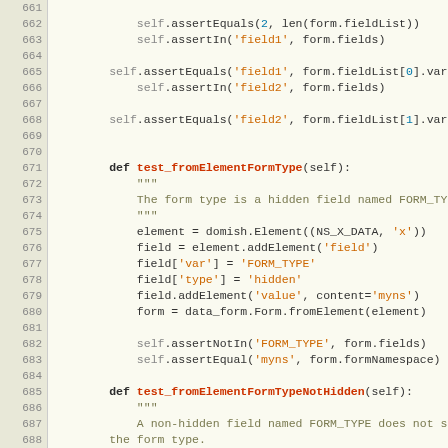[Figure (screenshot): Python source code snippet showing test methods for form element parsing, lines 661-690, with syntax highlighting. Methods include test_fromElementFormType and test_fromElementFormTypeNotHidden.]